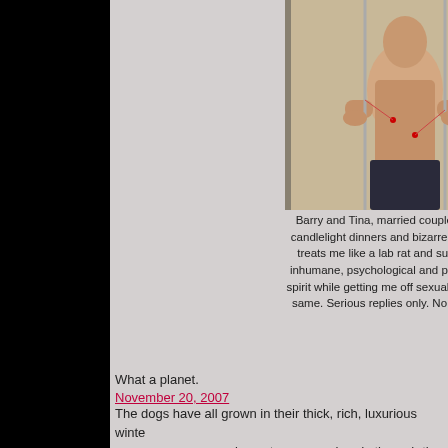[Figure (photo): A shirtless man seated, appearing to be connected to wires/electrodes, with a person in white visible in the background. Photo taken in a room with a closet.]
Barry and Tina, married couple who likes walks candlelight dinners and bizarre science experiments. treats me like a lab rat and subjects me to all k inhumane, psychological and physical torture des spirit while getting me off sexually, looking for coup same. Serious replies only. No smokers. Christi
What a planet.
November 20, 2007
The dogs have all grown in their thick, rich, luxurious winte very sensuous experience to run your hands through the malamute in winter.
November 21, 2007
Speaking of gray, nasty, sunless days. It's late Fall and the every morning, and snow flurries throughout the day, and